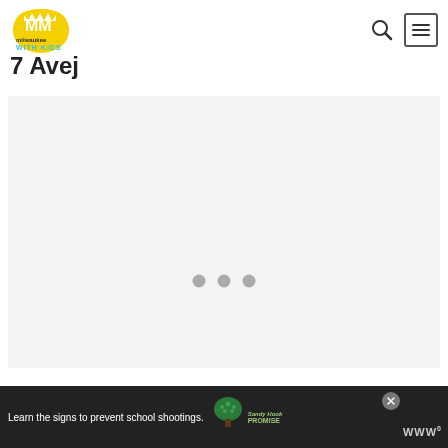[Figure (logo): Milwaukee With Kids logo - yellow dome shape with white MM letters and blue text 'milwaukee WITH KIDS']
7 Avej
[Figure (other): Light gray content placeholder box with three gray loading dots in the center]
[Figure (other): Advertisement banner with dark background: 'Learn the signs to prevent school shootings.' with Sandy Hook Promise tree logo and WW logo. Close button top right.]